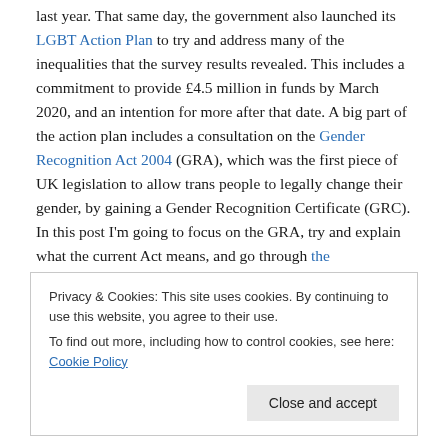last year. That same day, the government also launched its LGBT Action Plan to try and address many of the inequalities that the survey results revealed. This includes a commitment to provide £4.5 million in funds by March 2020, and an intention for more after that date. A big part of the action plan includes a consultation on the Gender Recognition Act 2004 (GRA), which was the first piece of UK legislation to allow trans people to legally change their gender, by gaining a Gender Recognition Certificate (GRC). In this post I'm going to focus on the GRA, try and explain what the current Act means, and go through the
Privacy & Cookies: This site uses cookies. By continuing to use this website, you agree to their use. To find out more, including how to control cookies, see here: Cookie Policy
Close and accept